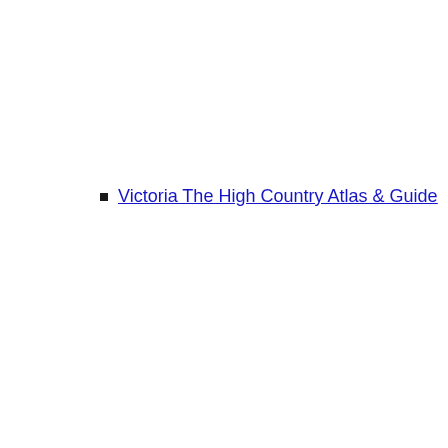Victoria The High Country Atlas & Guide